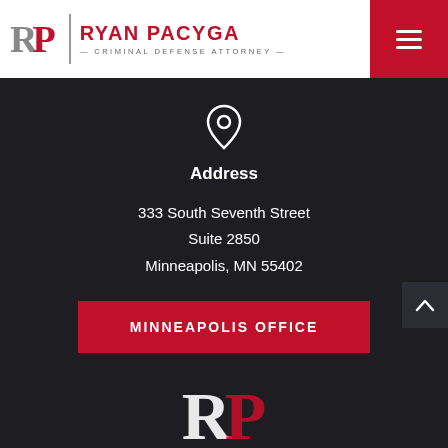[Figure (logo): Ryan Pacyga Criminal Defense Attorney logo with RP monogram and red menu button]
Address
333 South Seventh Street
Suite 2850
Minneapolis, MN 55402
MINNEAPOLIS OFFICE
[Figure (logo): Partial RP monogram logo at bottom of page]